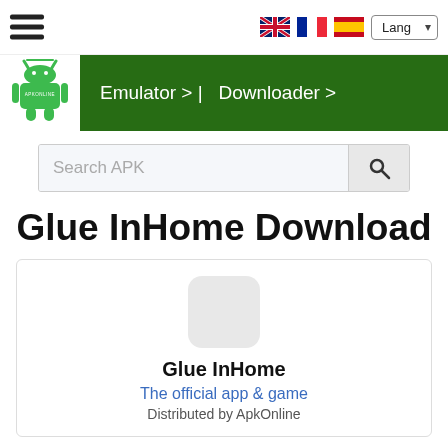[Figure (screenshot): Hamburger menu icon (three horizontal lines) in top left corner]
[Figure (screenshot): Language flag icons (UK, France, Spain) and Lang dropdown selector]
[Figure (logo): APKOnline Android robot logo]
Emulator > |  Downloader >
Search APK
Glue InHome Download
Glue InHome
The official app & game
Distributed by ApkOnline